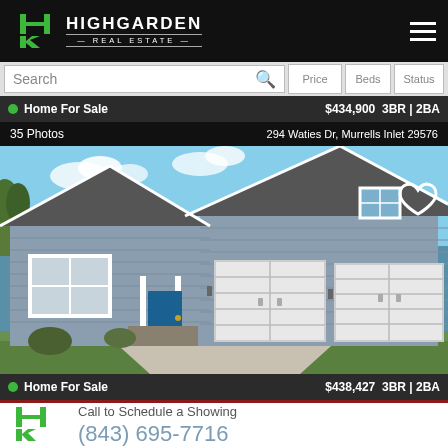HIGHGARDEN REAL ESTATE
Search | Price | Beds | Status
Home For Sale  $434,900  3BR | 2BA
35 Photos    294 Waties Dr, Murrells Inlet 29576
[Figure (photo): Exterior photo of a blue-gray craftsman style home with white garage doors and blue front door at 294 Waties Dr, Murrells Inlet 29576]
Home For Sale  $438,427  3BR | 2BA
40 Photos    540 Canborough Ln, Murrells Inlet 29576
Call to Schedule a Showing
(843) 695-7716